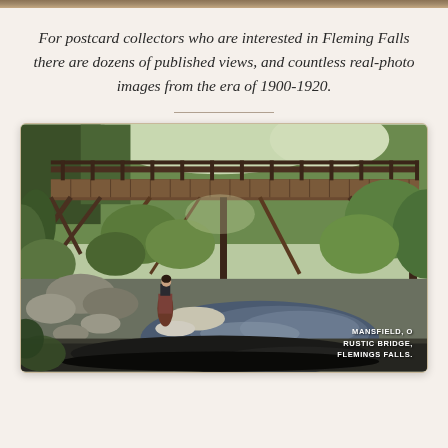[Figure (photo): Decorative horizontal bar at top of page with brown and tan tones]
For postcard collectors who are interested in Fleming Falls there are dozens of published views, and countless real-photo images from the era of 1900-1920.
[Figure (photo): Vintage colorized postcard photograph showing a rustic wooden bridge over a rocky stream at Flemings Falls, Mansfield, Ohio. A woman in period dress stands near the water. Trees and foliage surround the scene. Caption reads: MANSFIELD, O / RUSTIC BRIDGE, / FLEMINGS FALLS.]